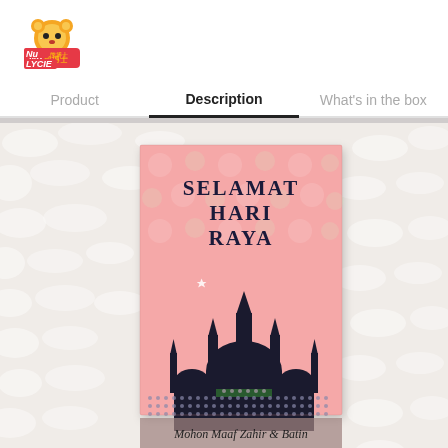[Figure (logo): Nu Lycie brand logo with cartoon bear face and orange/yellow circles]
Product | Description | What's in the box
[Figure (photo): Product photo showing a pink Hari Raya greeting card with mosque silhouette and text 'SELAMAT HARI RAYA' and 'Mohon Maaf Zahir & Batin', placed on white fluffy fur background]